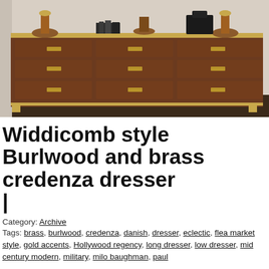[Figure (photo): A Widdicomb style burlwood and brass credenza dresser with nine drawers and brass hardware, photographed in a room setting with decorative items on top.]
Widdicomb style Burlwood and brass credenza dresser |
Category: Archive
Tags: brass, burlwood, credenza, danish, dresser, eclectic, flea market style, gold accents, Hollywood regency, long dresser, low dresser, mid century modern, military, milo baughman, paul